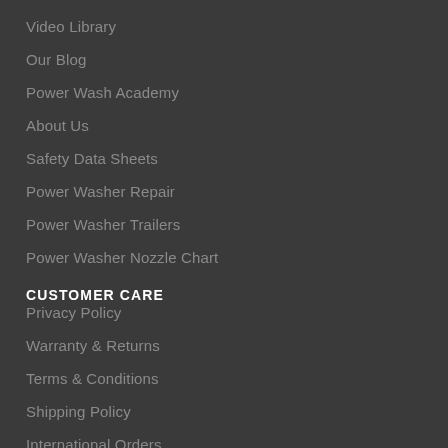Video Library
Our Blog
Power Wash Academy
About Us
Safety Data Sheets
Power Washer Repair
Power Washer Trailers
Power Washer Nozzle Chart
CUSTOMER CARE
Privacy Policy
Warranty & Returns
Terms & Conditions
Shipping Policy
International Orders
Employment Application